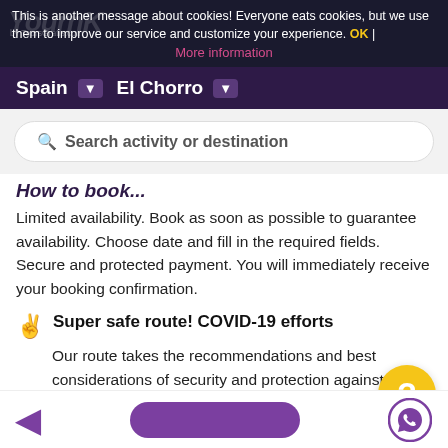This is another message about cookies! Everyone eats cookies, but we use them to improve our service and customize your experience. OK | More information
Spain ▾  El Chorro ▾
🔍 Search activity or destination
How to book...
Limited availability. Book as soon as possible to guarantee availability. Choose date and fill in the required fields. Secure and protected payment. You will immediately receive your booking confirmation.
🤚 Super safe route! COVID-19 efforts
Our route takes the recommendations and best considerations of security and protection against Coronavirus.